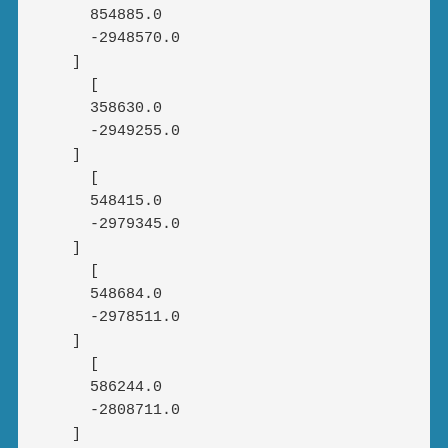854885.0
    -2948570.0
  ]
    [
    358630.0
    -2949255.0
  ]
    [
    548415.0
    -2979345.0
  ]
    [
    548684.0
    -2978511.0
  ]
    [
    586244.0
    -2808711.0
  ]
    [